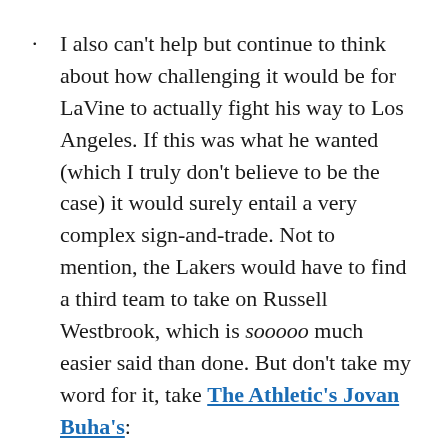I also can't help but continue to think about how challenging it would be for LaVine to actually fight his way to Los Angeles. If this was what he wanted (which I truly don't believe to be the case) it would surely entail a very complex sign-and-trade. Not to mention, the Lakers would have to find a third team to take on Russell Westbrook, which is sooooo much easier said than done. But don't take my word for it, take The Athletic's Jovan Buha's:
Teams have been demanding the